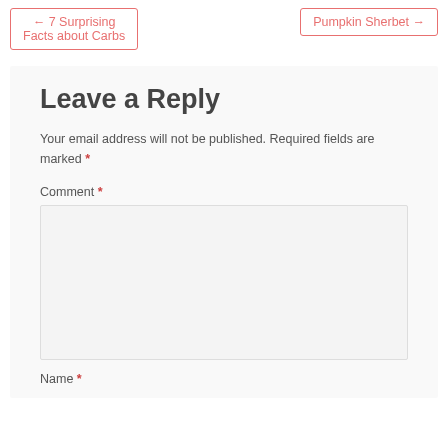← 7 Surprising Facts about Carbs
Pumpkin Sherbet →
Leave a Reply
Your email address will not be published. Required fields are marked *
Comment *
Name *